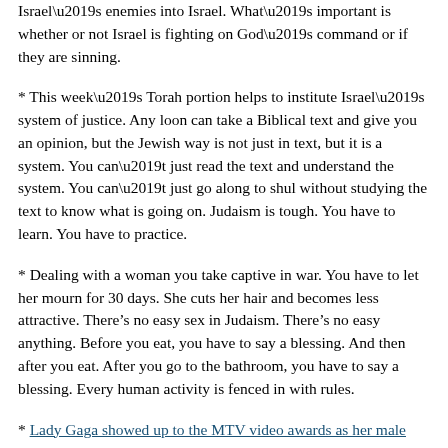Israel’s enemies into Israel. What’s important is whether or not Israel is fighting on God’s command or if they are sinning.
* This week’s Torah portion helps to institute Israel’s system of justice. Any loon can take a Biblical text and give you an opinion, but the Jewish way is not just in text, but it is a system. You can’t just read the text and understand the system. You can’t just go along to shul without studying the text to know what is going on. Judaism is tough. You have to learn. You have to practice.
* Dealing with a woman you take captive in war. You have to let her mourn for 30 days. She cuts her hair and becomes less attractive. There’s no easy sex in Judaism. There’s no easy anything. Before you eat, you have to say a blessing. And then after you eat. After you go to the bathroom, you have to say a blessing. Every human activity is fenced in with rules.
* Lady Gaga showed up to the MTV video awards as her male